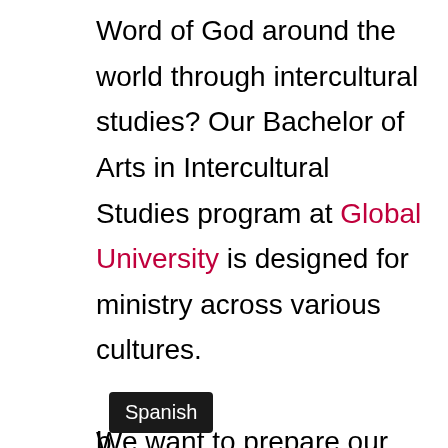Word of God around the world through intercultural studies? Our Bachelor of Arts in Intercultural Studies program at Global University is designed for ministry across various cultures.

We want to prepare our Intercultural Studies students to interpret the Bible correctly, demonstrate a working knowledge of the history and application of Christian theology, and conduct programs in local churches that will facilitate the ongoing vitality of the Christian faith among congregations with a diverse [background].